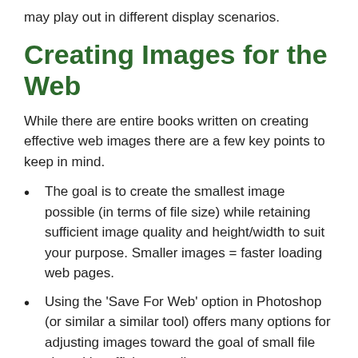may play out in different display scenarios.
Creating Images for the Web
While there are entire books written on creating effective web images there are a few key points to keep in mind.
The goal is to create the smallest image possible (in terms of file size) while retaining sufficient image quality and height/width to suit your purpose. Smaller images = faster loading web pages.
Using the 'Save For Web' option in Photoshop (or similar a similar tool) offers many options for adjusting images toward the goal of small file size with sufficient quality.
The most effective way to reduce the file size of